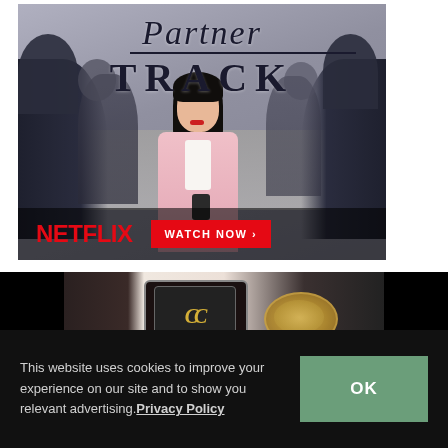[Figure (photo): Netflix advertisement for 'Partner Track' showing an Asian woman in a pink blazer walking among suited business people, with the show title 'Partner Track' in italic serif font and NETFLIX logo with 'WATCH NOW >' button]
[Figure (photo): Advertisement showing close-up of Chanel jewelry including a black bracelet with CC logo and gold chain necklace on dark background]
This website uses cookies to improve your experience on our site and to show you relevant advertising. Privacy Policy
OK